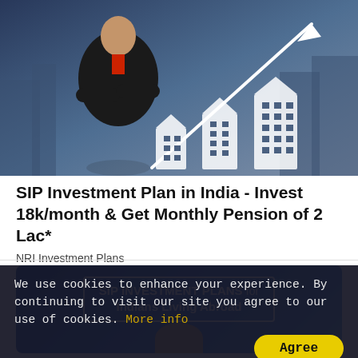[Figure (photo): A businessman in a dark suit with arms crossed, against a cityscape background with white arrow and building/bar chart icons pointing upward, representing investment growth.]
SIP Investment Plan in India - Invest 18k/month & Get Monthly Pension of 2 Lac*
NRI Investment Plans
[Figure (infographic): Blue gradient advertisement banner reading 'SIP INVESTMENT PLANS for Indians Living Abroad' with a bordered white text box and a partial image of a person below.]
We use cookies to enhance your experience. By continuing to visit our site you agree to our use of cookies. More info